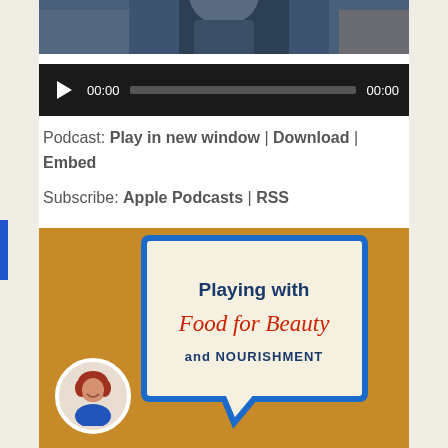[Figure (photo): Partial photo of a person at the top of the page, cropped, showing upper body with blue clothing]
[Figure (other): Audio player bar with play button, time display 00:00, progress bar, and end time 00:00 on dark background]
Podcast: Play in new window | Download | Embed
Subscribe: Apple Podcasts | RSS
[Figure (logo): Podcast logo for 'Playing with Food for Beauty and NOURISHMENT' with speech bubble design on golden/amber background, small circular photo of red-haired woman in lower left]